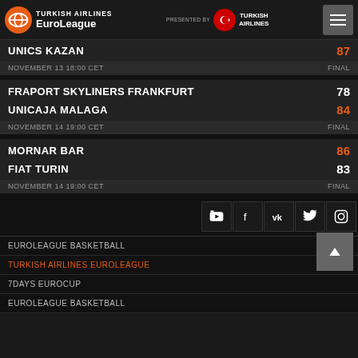Turkish Airlines EuroLeague — presented by Turkish Airlines
UNICS KAZAN 87
NOVEMBER 13 18:00 CET — FINAL
FRAPORT SKYLINERS FRANKFURT 78
UNICAJA MALAGA 84
NOVEMBER 14 19:00 CET — FINAL
MORNAR BAR 86
FIAT TURIN 83
NOVEMBER 14 19:00 CET — FINAL
[Figure (other): Social media icons: YouTube, Facebook, VK, Twitter, Instagram]
EUROLEAGUE BASKETBALL
TURKISH AIRLINES EUROLEAGUE
7DAYS EUROCUP
EUROLEAGUE BASKETBALL